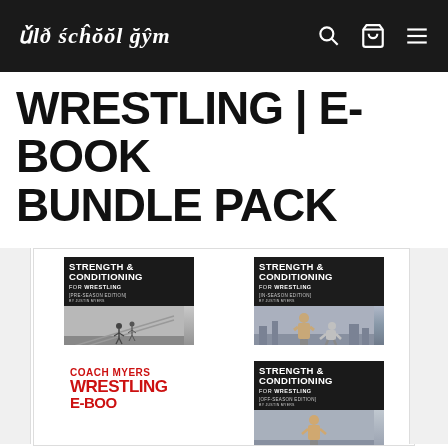Old School Gym
WRESTLING | E-BOOK BUNDLE PACK
[Figure (illustration): Four book covers in a 2x2 grid: (1) Strength & Conditioning for Wrestling Pre-Season Edition with winter outdoor running photo, (2) Strength & Conditioning for Wrestling In-Season Edition with athletes photo, (3) Coach Myers Wrestling E-Book cover with red text on white, (4) Strength & Conditioning for Wrestling Off-Season Edition with athlete photo]